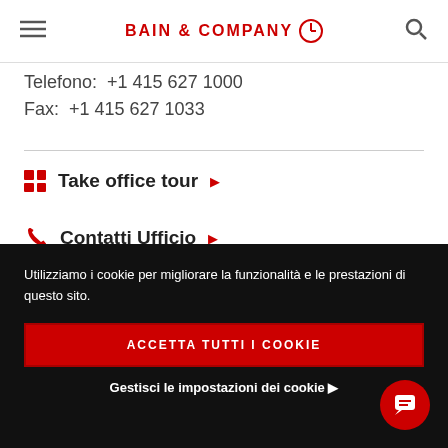BAIN & COMPANY
Telefono:  +1 415 627 1000
Fax:  +1 415 627 1033
Take office tour
Contatti Ufficio
Utilizziamo i cookie per migliorare la funzionalità e le prestazioni di questo sito.
ACCETTA TUTTI I COOKIE
Gestisci le impostazioni dei cookie